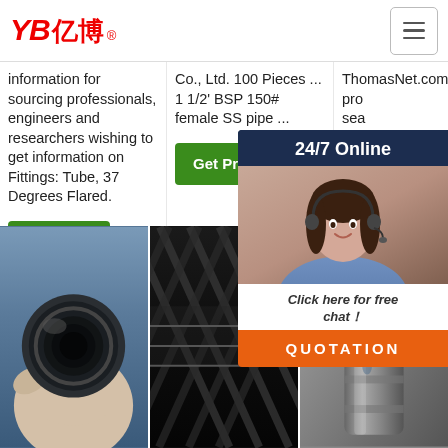YB亿博 - navigation header
information for sourcing professionals, engineers and researchers wishing to get information on Fittings: Tube, 37 Degrees Flared.
Co., Ltd. 100 Pieces ... 1 1/2' BSP 150# female SS pipe ...
ThomasNet.com pro... sea... incl... cert... key... help... res...
[Figure (screenshot): 24/7 Online chat widget with customer service agent photo, 'Click here for free chat!' text, and orange QUOTATION button]
Get Price
Get Price
[Figure (photo): Hand holding the end of a black hydraulic hose showing the inner bore]
[Figure (photo): Close-up of black braided hydraulic hose exterior texture]
[Figure (photo): Metal cylinder/valve component with orange TOP badge overlay]